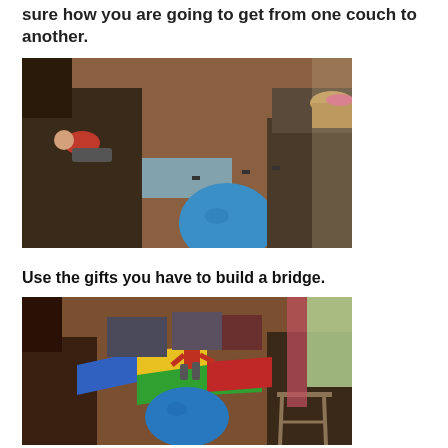sure how you are going to get from one couch to another.
[Figure (photo): A child lying on a dark couch in a living room with hardwood floors. A blue exercise ball is visible on the floor, along with a yoga mat and other furniture.]
Use the gifts you have to build a bridge.
[Figure (photo): A child jumping on a colorful mat (blue, yellow, green, red) that is balanced on a blue exercise ball between two couches, creating a bridge-like structure.]